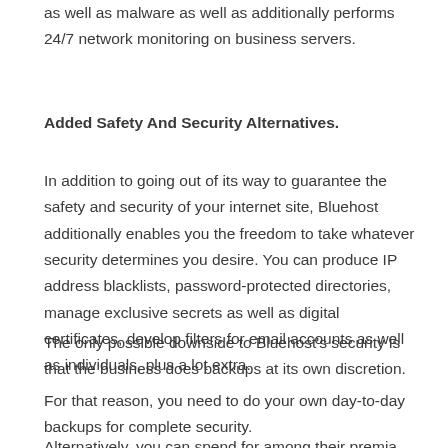as well as malware as well as additionally performs 24/7 network monitoring on business servers.
Added Safety And Security Alternatives.
In addition to going out of its way to guarantee the safety and security of your internet site, Bluehost additionally enables you the freedom to take whatever security determines you desire. You can produce IP address blacklists, password-protected directories, manage exclusive secrets as well as digital certificates, develop filters for email accounts as well as individuals, plus a lot extra.
The only possible downside to Bluehost’s security is that the business does backups at its own discretion.
For that reason, you need to do your own day-to-day backups for complete security.
Alternatively, you can spend for among their premia, as well as